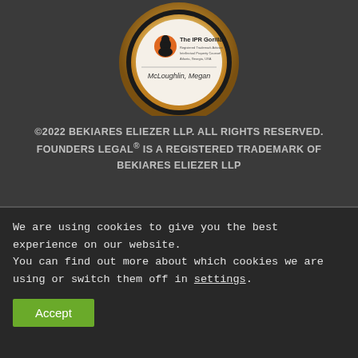[Figure (illustration): A gold circular medal/badge featuring The IPR Gorilla logo with an orange gorilla icon, text 'The IPR Gorilla' and 'McLoughlin, Megan' on a dark background]
©2022 BEKIARES ELIEZER LLP. ALL RIGHTS RESERVED. FOUNDERS LEGAL® IS A REGISTERED TRADEMARK OF BEKIARES ELIEZER LLP
Founders Legal (Bekiares Eliezer LLP) is a Corporate & Intellectual Property Law Firm based in Atlanta, Georgia USA, that focuses exclusively on complex
We are using cookies to give you the best experience on our website.
You can find out more about which cookies we are using or switch them off in settings.
Accept